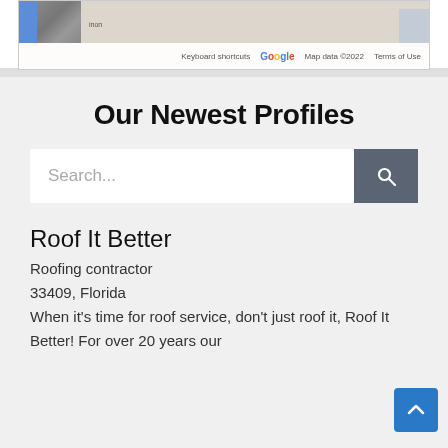[Figure (map): Google Maps screenshot showing a street/satellite map with keyboard shortcuts label, Map data ©2022, and Terms of Use text at the bottom]
Our Newest Profiles
[Figure (screenshot): Search bar with placeholder text 'Search...' and a dark gray search button with magnifying glass icon]
Roof It Better
Roofing contractor
33409, Florida
When it's time for roof service, don't just roof it, Roof It Better! For over 20 years our